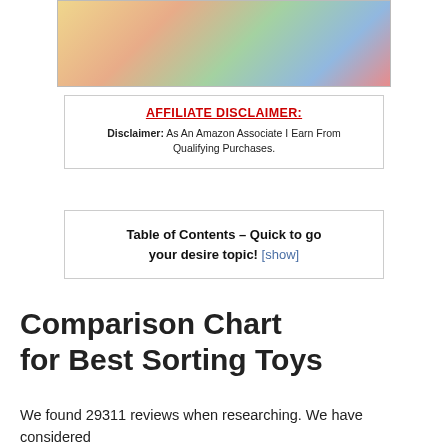[Figure (photo): Colorful sorting toys including candy buckets, rainbow colored toys, bowls with objects, and a red double-decker bus toy]
AFFILIATE DISCLAIMER:
Disclaimer: As An Amazon Associate I Earn From Qualifying Purchases.
Table of Contents – Quick to go your desire topic! [show]
Comparison Chart for Best Sorting Toys
We found 29311 reviews when researching. We have considered